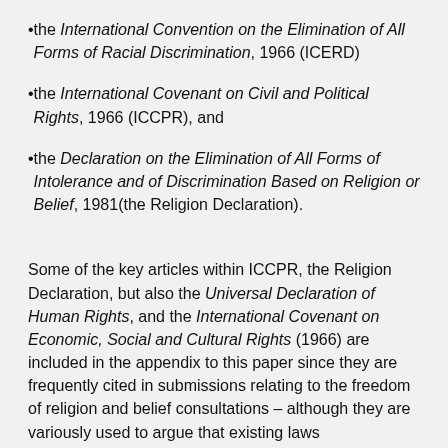the International Convention on the Elimination of All Forms of Racial Discrimination, 1966 (ICERD)
the International Covenant on Civil and Political Rights, 1966 (ICCPR), and
the Declaration on the Elimination of All Forms of Intolerance and of Discrimination Based on Religion or Belief, 1981 (the Religion Declaration).
Some of the key articles within ICCPR, the Religion Declaration, but also the Universal Declaration of Human Rights, and the International Covenant on Economic, Social and Cultural Rights (1966) are included in the appendix to this paper since they are frequently cited in submissions relating to the freedom of religion and belief consultations – although they are variously used to argue that existing laws